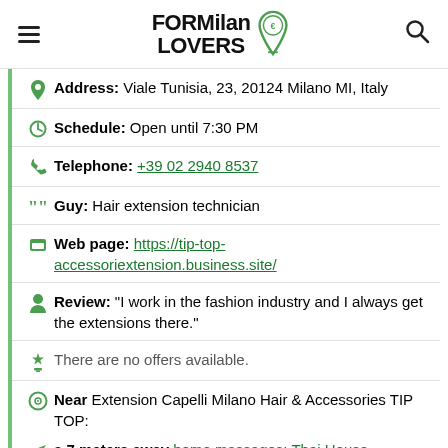FOR Milan LOVERS [logo]
Address: Viale Tunisia, 23, 20124 Milano MI, Italy
Schedule: Open until 7:30 PM
Telephone: +39 02 2940 8537
Guy: Hair extension technician
Web page: https://tip-top-accessoriextension.business.site/
Review: "I work in the fashion industry and I always get the extensions there."
There are no offers available.
Near Extension Capelli Milano Hair & Accessories TIP TOP:
a 7 meters away home massages: Thai House